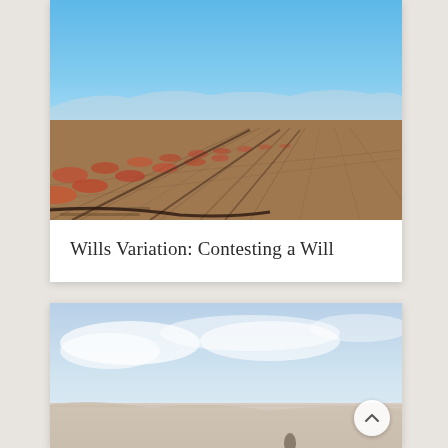[Figure (photo): Vineyard rows with reddish grapevines on wire trellises, muddy ground, clear blue sky with distant mountains]
Wills Variation: Contesting a Will
[Figure (photo): Aerial or wide landscape view of snowy or sandy terrain under a bright sky, partially visible]